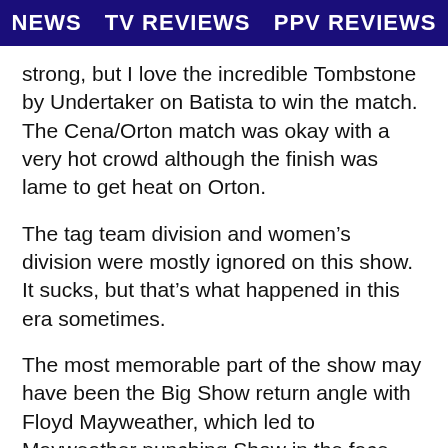NEWS   TV REVIEWS   PPV REVIEWS
strong, but I love the incredible Tombstone by Undertaker on Batista to win the match. The Cena/Orton match was okay with a very hot crowd although the finish was lame to get heat on Orton.
The tag team division and women’s division were mostly ignored on this show. It sucks, but that’s what happened in this era sometimes.
The most memorable part of the show may have been the Big Show return angle with Floyd Mayweather, which led to Mayweather punching Show in the face leading to a bloody nose and mouth. I thought that was booked so well. It’s probably one of the best angles of Big Show’s career
and the involvement of Mayweather was perfect.